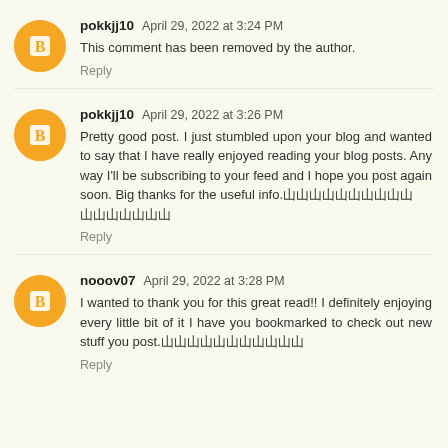pokkjj10  April 29, 2022 at 3:24 PM
This comment has been removed by the author.
Reply
pokkjj10  April 29, 2022 at 3:26 PM
Pretty good post. I just stumbled upon your blog and wanted to say that I have really enjoyed reading your blog posts. Any way I'll be subscribing to your feed and I hope you post again soon. Big thanks for the useful info.
Reply
nooov07  April 29, 2022 at 3:28 PM
I wanted to thank you for this great read!! I definitely enjoying every little bit of it I have you bookmarked to check out new stuff you post.
Reply